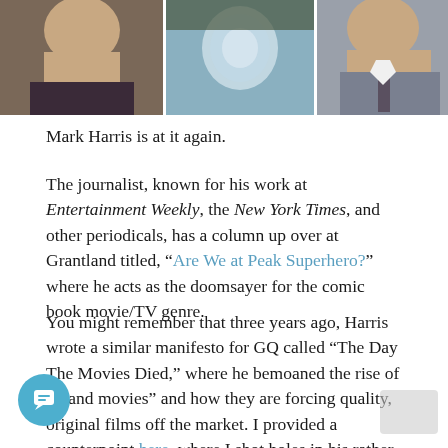[Figure (photo): Three side-by-side cropped photos of people: left shows a man in a dark shirt, center shows a blurred/abstract image, right shows a man in a suit and tie.]
Mark Harris is at it again.
The journalist, known for his work at Entertainment Weekly, the New York Times, and other periodicals, has a column up over at Grantland titled, “Are We at Peak Superhero?” where he acts as the doomsayer for the comic book movie/TV genre.
You might remember that three years ago, Harris wrote a similar manifesto for GQ called “The Day The Movies Died,” where he bemoaned the rise of “brand movies” and how they are forcing quality, original films off the market. I provided a counterpoint here, where I shot holes in his rather ill though-out argument (which essentially consisted of “I don’t like these sequels, remakes, and adaptations here. I prefer those sequel, remakes, and adaptations over there”). His argument here isn’t hat much better.